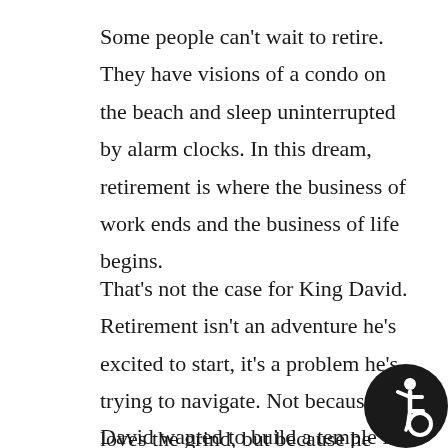Some people can't wait to retire. They have visions of a condo on the beach and sleep uninterrupted by alarm clocks. In this dream, retirement is where the business of work ends and the business of life begins.
That's not the case for King David. Retirement isn't an adventure he's excited to start, it's a problem he's trying to navigate. Not because he loves the grind, but because he knows he will leave some unfinished business behind.
David wanted to build a temple for God
[Figure (illustration): Accessibility icon — white wheelchair user symbol on a dark circular background, positioned in the bottom-right corner of the page.]